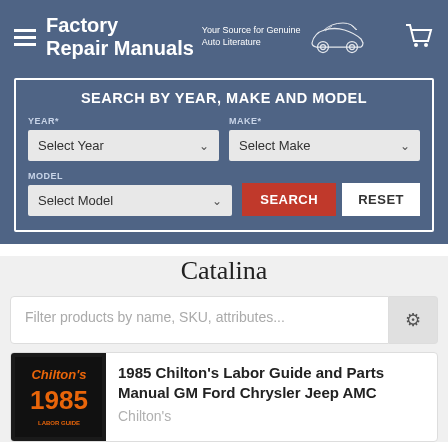Factory Repair Manuals — Your Source for Genuine Auto Literature
SEARCH BY YEAR, MAKE AND MODEL
YEAR* — Select Year | MAKE* — Select Make | MODEL — Select Model | SEARCH | RESET
Catalina
Filter products by name, SKU, attributes...
1985 Chilton's Labor Guide and Parts Manual GM Ford Chrysler Jeep AMC
Chilton's